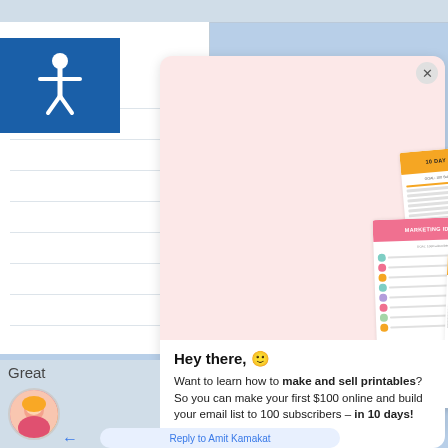[Figure (screenshot): Screenshot of an email marketing popup/overlay showing printable product cards (10 DAY CHALLENGE, OPTIN IDEAS, MARKETING IDEAS) and a message encouraging users to learn how to make and sell printables]
Email
Hey there, 🙂
Want to learn how to make and sell printables? So you can make your first $100 online and build your email list to 100 subscribers – in 10 days!